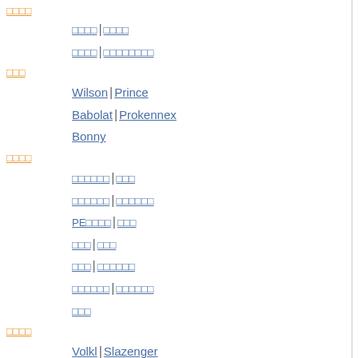□□□□
□□□□ | □□□□
□□□□ | □□□□□□□□
□□□
Wilson | Prince
Babolat | Prokennex
Bonny
□□□□
□□□□□□ | □□□
□□□□□□ | □□□□□□
PE□□□□ | □□□
□□□ | □□□
□□□ | □□□□□□
□□□□□□ | □□□□□□
□□□
□□□□
Volkl | Slazenger
□□□□
Yonex AT□Ti□ | Yonex CAB□□
MP□□
Yonex ISO□□ | Bonny